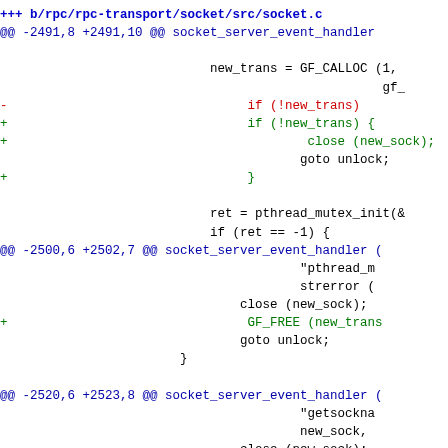[Figure (screenshot): A unified diff patch showing changes to b/rpc/rpc-transport/socket/src/socket.c. The diff shows three hunks: hunk at -2491,8 +2491,10 adding braces and close(new_sock) around if(!new_trans); hunk at -2500,6 +2502,7 adding GF_FREE(new_trans) before goto unlock; hunk at -2520,6 +2523,8 adding two GF_FREE(new_trans) calls before goto unlock.]